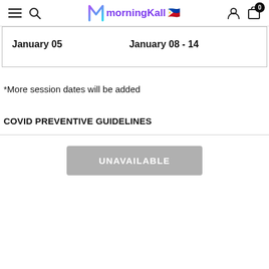morningKall 🇵🇭
|  |  |
| --- | --- |
| January 05 | January 08 - 14 |
*More session dates will be added
COVID PREVENTIVE GUIDELINES
UNAVAILABLE